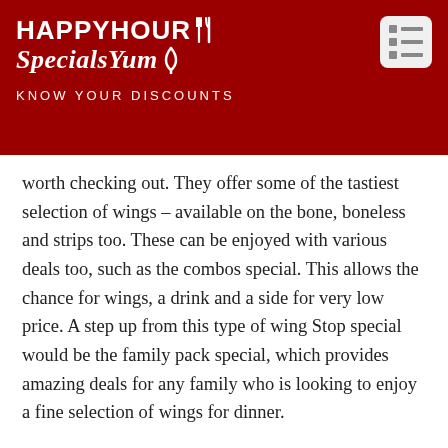HAPPYHOUR SpecialsYum KNOW YOUR DISCOUNTS
worth checking out. They offer some of the tastiest selection of wings – available on the bone, boneless and strips too. These can be enjoyed with various deals too, such as the combos special. This allows the chance for wings, a drink and a side for very low price. A step up from this type of wing Stop special would be the family pack special, which provides amazing deals for any family who is looking to enjoy a fine selection of wings for dinner.
WINGSTOP SPECIALS
Monday and Tuesday All Day